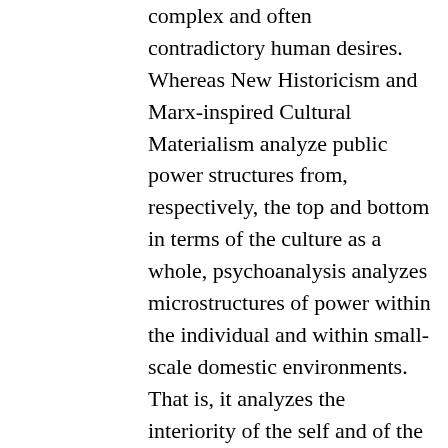complex and often contradictory human desires. Whereas New Historicism and Marx-inspired Cultural Materialism analyze public power structures from, respectively, the top and bottom in terms of the culture as a whole, psychoanalysis analyzes microstructures of power within the individual and within small-scale domestic environments. That is, it analyzes the interiority of the self and of the self's kinship systems. By analyzing the formation of the individual,